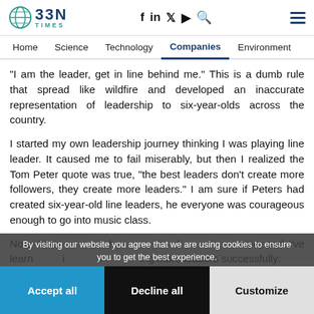BBN TIMES — Home | Science | Technology | Companies | Environment
"I am the leader, get in line behind me." This is a dumb rule that spread like wildfire and developed an inaccurate representation of leadership to six-year-olds across the country.
I started my own leadership journey thinking I was playing line leader. It caused me to fail miserably, but then I realized the Tom Peter quote was true, "the best leaders don't create more followers, they create more leaders." I am sure if Peters had created six-year-old line leaders, he everyone was courageous enough to go into music class.
Now, I wo... h... ame, and I've learn... i... s... ing more leaders successfully:
By visiting our website you agree that we are using cookies to ensure you to get the best experience.